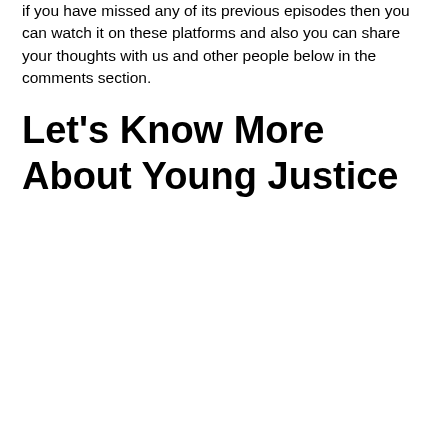if you have missed any of its previous episodes then you can watch it on these platforms and also you can share your thoughts with us and other people below in the comments section.
Let's Know More About Young Justice